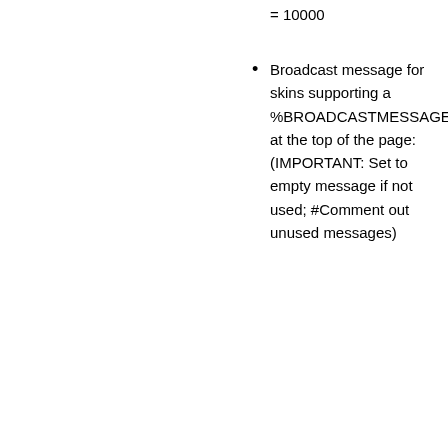= 10000
Broadcast message for skins supporting a %BROADCASTMESSAGE% at the top of the page: (IMPORTANT: Set to empty message if not used; #Comment out unused messages)
Set BROADCASTMESSAGE =
#Set BROADCASTMESSAGE = NOTE: Edit and Attach will be disabled today between 05:00 PM and 06:00 PM PDT (00:00 to